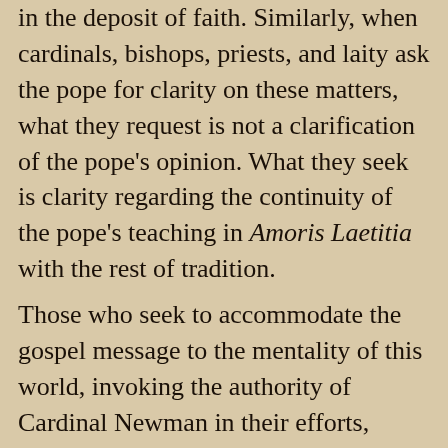in the deposit of faith. Similarly, when cardinals, bishops, priests, and laity ask the pope for clarity on these matters, what they request is not a clarification of the pope's opinion. What they seek is clarity regarding the continuity of the pope's teaching in Amoris Laetitia with the rest of tradition.
Those who seek to accommodate the gospel message to the mentality of this world, invoking the authority of Cardinal Newman in their efforts, should consider what he says about the Church's continuity of type.
According to Newman, the true Church can be identified by the unchanging way in which the world has perceived her through the centuries, even amidst many developments. As Newman says, in the